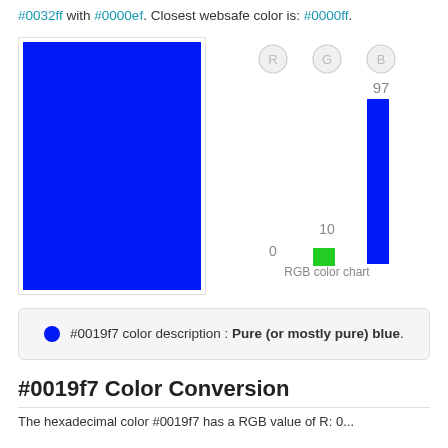#0032ff with #0000ef. Closest websafe color is: #0000ff.
[Figure (bar-chart): RGB color chart]
#0019f7 color description : Pure (or mostly pure) blue.
#0019f7 Color Conversion
The hexadecimal color #0019f7 has a RGB value of R:0...